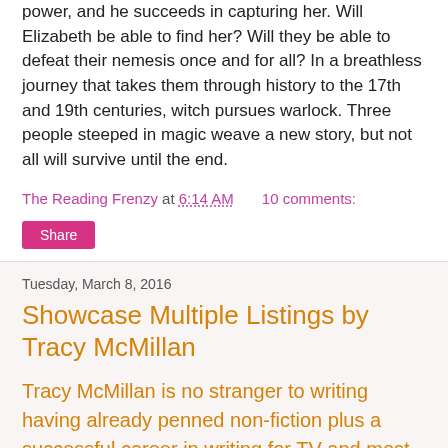power, and he succeeds in capturing her. Will Elizabeth be able to find her? Will they be able to defeat their nemesis once and for all? In a breathless journey that takes them through history to the 17th and 19th centuries, witch pursues warlock. Three people steeped in magic weave a new story, but not all will survive until the end.
The Reading Frenzy at 6:14 AM   10 comments:
Share
Tuesday, March 8, 2016
Showcase Multiple Listings by Tracy McMillan
Tracy McMillan is no stranger to writing having already penned non-fiction plus a successful career in writing for TV and most recognized for Mad Men. Now she's tried her hand at fiction so read on and I'll bet you want to pick up a copy of yourself!
[Figure (other): Orange rectangle image with a dark arrow/chevron shape at the bottom center]